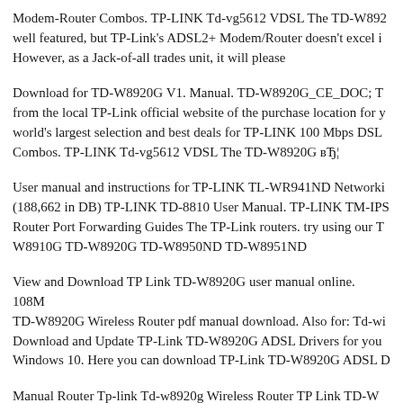Modem-Router Combos. TP-LINK Td-vg5612 VDSL The TD-W89... well featured, but TP-Link's ADSL2+ Modem/Router doesn't excel i... However, as a Jack-of-all trades unit, it will please
Download for TD-W8920G V1. Manual. TD-W8920G_CE_DOC; T... from the local TP-Link official website of the purchase location for y... world's largest selection and best deals for TP-LINK 100 Mbps DSL... Combos. TP-LINK Td-vg5612 VDSL The TD-W8920G вЂ¦
User manual and instructions for TP-LINK TL-WR941ND Networki... (188,662 in DB) TP-LINK TD-8810 User Manual. TP-LINK TM-IPS... Router Port Forwarding Guides The TP-Link routers. try using our T... W8910G TD-W8920G TD-W8950ND TD-W8951ND
View and Download TP Link TD-W8920G user manual online. 108M... TD-W8920G Wireless Router pdf manual download. Also for: Td-wi... Download and Update TP-Link TD-W8920G ADSL Drivers for you... Windows 10. Here you can download TP-Link TD-W8920G ADSL D...
Manual Router Tp-link Td-w8920g Wireless Router TP Link TD-W...